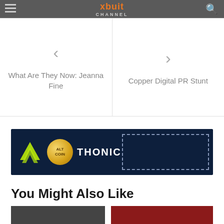xbuit CHANNEL
< What Are They Now: Jeanna Fine
> Copper Digital PR Stunt
[Figure (infographic): Thonic cryptocurrency advertisement banner with alt coin logo on dark navy background, with a dashed rectangle placeholder on the right side]
You Might Also Like
[Figure (photo): Two thumbnail images at the bottom of the page]